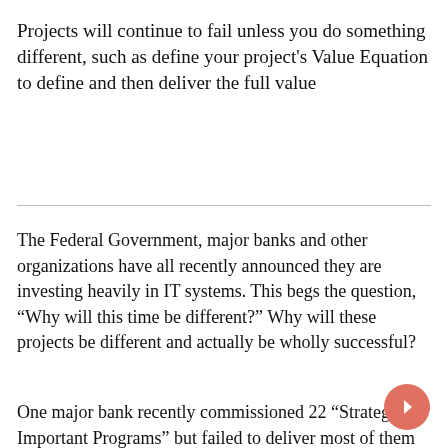Projects will continue to fail unless you do something different, such as define your project's Value Equation to define and then deliver the full value
The Federal Government, major banks and other organizations have all recently announced they are investing heavily in IT systems. This begs the question, “Why will this time be different?” Why will these projects be different and actually be wholly successful?
One major bank recently commissioned 22 “Strategically Important Programs” but failed to deliver most of them